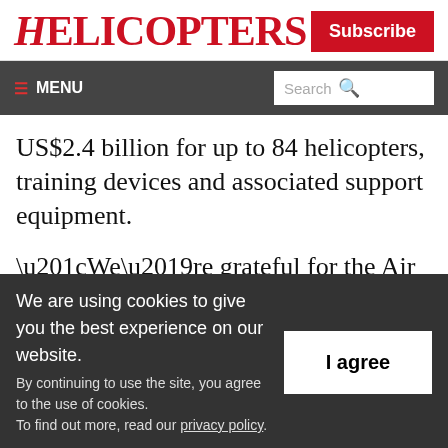HELICOPTERS | Subscribe
☰ MENU | Search
US$2.4 billion for up to 84 helicopters, training devices and associated support equipment.
“We’re grateful for the Air Force’s confidence in our MH-139 team,” said David Koopersmith, vice president and general manager, Boeing Vertical Lift. “The MH-139 exceeds mission
We are using cookies to give you the best experience on our website. By continuing to use the site, you agree to the use of cookies. To find out more, read our privacy policy.